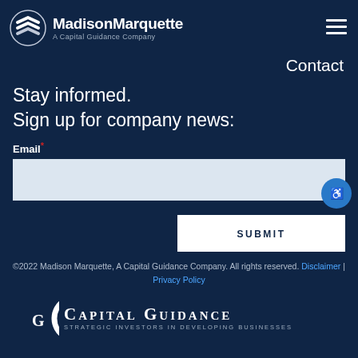[Figure (logo): Madison Marquette logo with checkmark chevron icon and text 'MadisonMarquette A Capital Guidance Company']
Contact
Stay informed.
Sign up for company news:
Email *
SUBMIT
©2022 Madison Marquette, A Capital Guidance Company. All rights reserved. Disclaimer | Privacy Policy
[Figure (logo): Capital Guidance logo with large C-G monogram and text 'Capital Guidance — Strategic Investors in Developing Businesses']